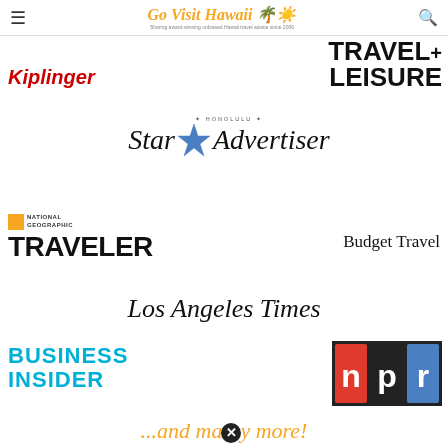Go Visit Hawaii — Sharing award-winning unbiased Hawaii travel advice since 2006
[Figure (logo): Collection of media publication logos: Travel + Leisure, Kiplinger, Honolulu Star-Advertiser, National Geographic Traveler, Budget Travel, Los Angeles Times, Business Insider, NPR, and '...and many more!']